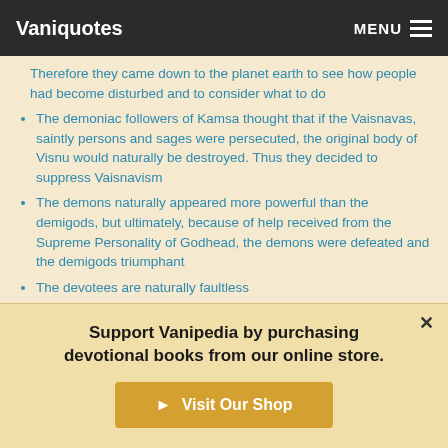Vaniquotes | MENU
Therefore they came down to the planet earth to see how people had become disturbed and to consider what to do
The demoniac followers of Kamsa thought that if the Vaisnavas, saintly persons and sages were persecuted, the original body of Visnu would naturally be destroyed. Thus they decided to suppress Vaisnavism
The demons naturally appeared more powerful than the demigods, but ultimately, because of help received from the Supreme Personality of Godhead, the demons were defeated and the demigods triumphant
The devotees are naturally faultless
Support Vanipedia by purchasing devotional books from our online store.
Visit Our Shop